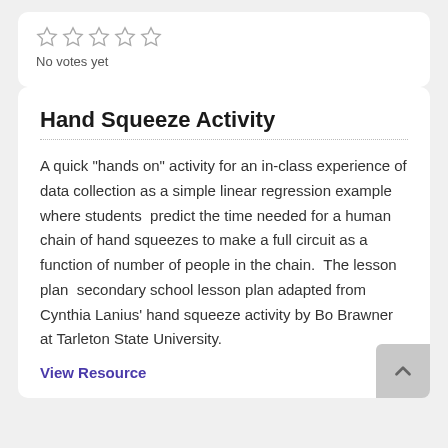[Figure (other): Five empty star rating icons]
No votes yet
Hand Squeeze Activity
A quick "hands on" activity for an in-class experience of data collection as a simple linear regression example where students  predict the time needed for a human chain of hand squeezes to make a full circuit as a function of number of people in the chain.  The lesson plan  secondary school lesson plan adapted from Cynthia Lanius' hand squeeze activity by Bo Brawner at Tarleton State University.
View Resource